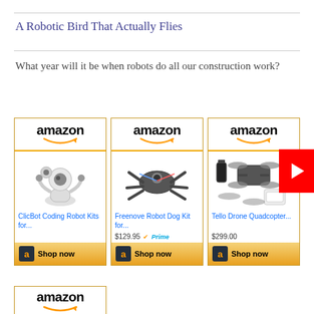A Robotic Bird That Actually Flies
What year will it be when robots do all our construction work?
[Figure (screenshot): Three Amazon product ad cards showing robotic products: ClicBot Coding Robot Kits, Freenove Robot Dog Kit for $129.95 with Prime, Tello Drone Quadcopter for $299.00. Each card has Amazon logo, product image, blue product title link, price, and gold Shop now button. A YouTube play button appears on the far right. A partial fourth Amazon card is visible at the bottom.]